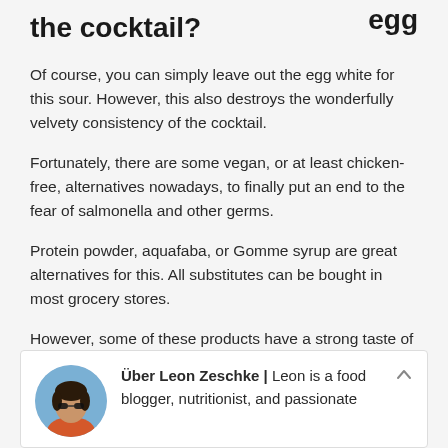egg the cocktail?
Of course, you can simply leave out the egg white for this sour. However, this also destroys the wonderfully velvety consistency of the cocktail.
Fortunately, there are some vegan, or at least chicken-free, alternatives nowadays, to finally put an end to the fear of salmonella and other germs.
Protein powder, aquafaba, or Gomme syrup are great alternatives for this. All substitutes can be bought in most grocery stores.
However, some of these products have a strong taste of their own, so you may have to adjust our recipe a bit.
Über Leon Zeschke | Leon is a food blogger, nutritionist, and passionate